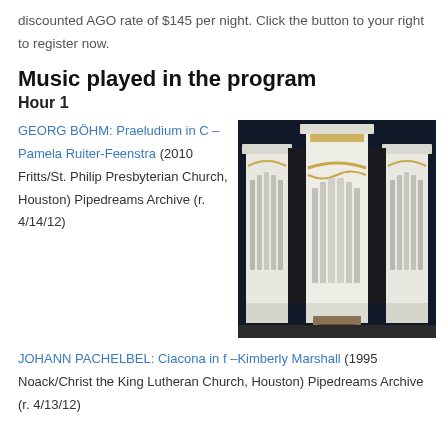discounted AGO rate of $145 per night.  Click the button to your right to register now.
Music played in the program
Hour 1
GEORG BÖHM: Praeludium in C – Pamela Ruiter-Feenstra (2010 Fritts/St. Philip Presbyterian Church, Houston) Pipedreams Archive (r. 4/14/12)
[Figure (photo): Large pipe organ with white/cream case, multiple towers of silver pipes, decorative gold swag ornaments, wooden console, photographed against dark background]
JOHANN PACHELBEL: Ciacona in f –Kimberly Marshall (1995 Noack/Christ the King Lutheran Church, Houston) Pipedreams Archive (r. 4/13/12)